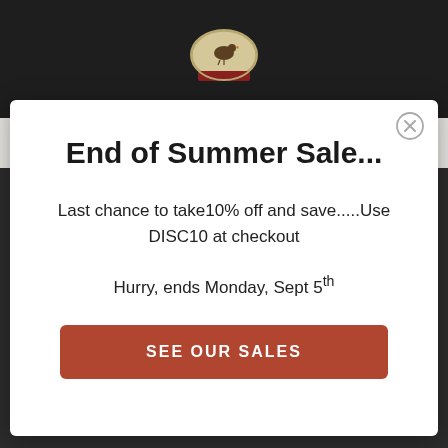[Figure (logo): Oval logo with illustrated duck/animal and red banner ribbon, text around oval border, on dark background header bar]
ADIRONDACK CHAIR
End of Summer Sale...
Last chance to take10% off and save.....Use DISC10 at checkout
Hurry, ends Monday, Sept 5th
SEE OUR SALES